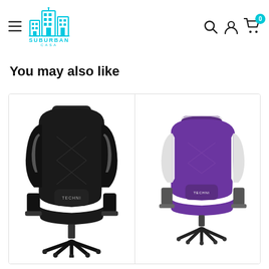[Figure (logo): Suburban Casa logo with cyan building icon and text]
You may also like
[Figure (photo): Black Techni gaming chair with diamond stitching, lumbar pillow, headrest pillow, and five-star base]
[Figure (photo): Purple and white Techni gaming chair, partially visible, cut off on right side]